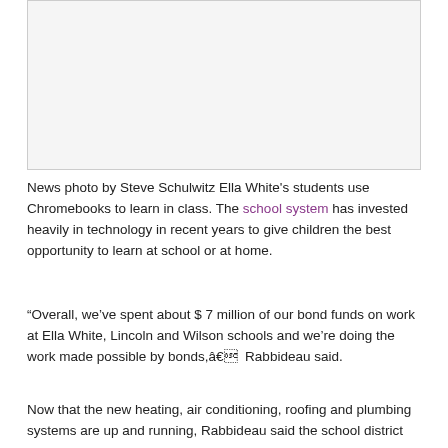[Figure (photo): Photo placeholder box — classroom photo by Steve Schulwitz]
News photo by Steve Schulwitz Ella White's students use Chromebooks to learn in class. The school system has invested heavily in technology in recent years to give children the best opportunity to learn at school or at home.
“Overall, we’ve spent about $ 7 million of our bond funds on work at Ella White, Lincoln and Wilson schools and we’re doing the work made possible by bonds,â€ Rabbideau said.
Now that the new heating, air conditioning, roofing and plumbing systems are up and running, Rabbideau said the school district